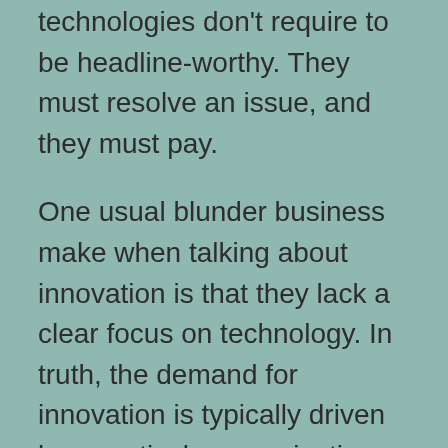technologies don't require to be headline-worthy. They must resolve an issue, and they must pay.
One usual blunder business make when talking about innovation is that they lack a clear focus on technology. In truth, the demand for innovation is typically driven by a particular organization challenge – a brand-new rival, a big contract, or a revenue-earning chance. Despite the situation, development concepts have to have clear focus as well as be directed in an instructions that is significant for the